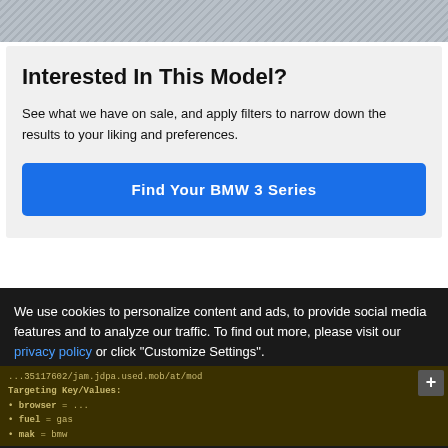[Figure (photo): Top portion of a car photo, partially cropped, showing a grey/silver vehicle]
Interested In This Model?
See what we have on sale, and apply filters to narrow down the results to your liking and preferences.
Find Your BMW 3 Series
We use cookies to personalize content and ads, to provide social media features and to analyze our traffic. To find out more, please visit our privacy policy or click "Customize Settings".
Customize Settings
✓ Accept Cookies